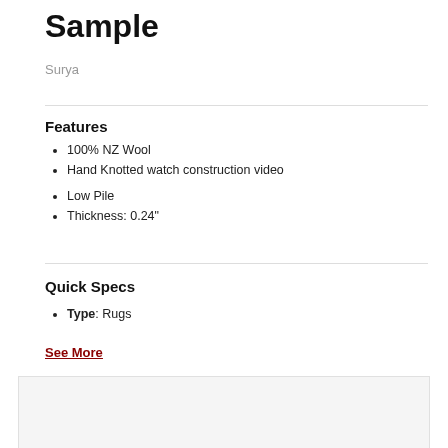Sample
Surya
Features
100% NZ Wool
Hand Knotted watch construction video
Low Pile
Thickness: 0.24"
Quick Specs
Type: Rugs
See More
Call for Our Best Price
- 1 +